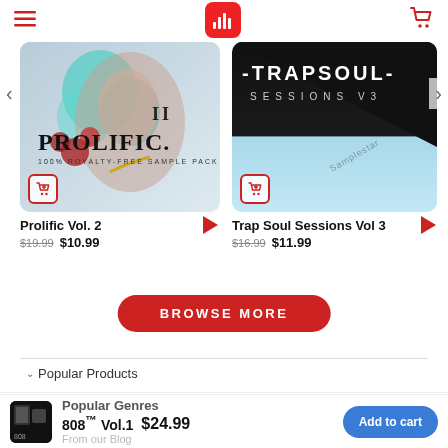Navigation header with menu icon, audio app logo, and cart icon
[Figure (screenshot): Prolific Vol. 2 sample pack album art - light blue/grey background with illustrated roses and face, text: II PROLIFIC. 100% ROYALTY-FREE SAMPLE PACK]
Prolific Vol. 2
$19.99 $10.99
[Figure (screenshot): Trap Soul Sessions Vol 3 album art - dark black triangle over light blue background with -TRAPSOUL- SESSIONS V3 text]
Trap Soul Sessions Vol 3
$16.99 $11.99
BROWSE MORE
Popular Products
Popular Genres
808™ Vol.1  $24.99
From our Blog
Add to cart